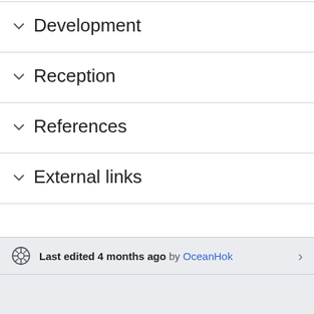Development
Reception
References
External links
Last edited 4 months ago by OceanHok